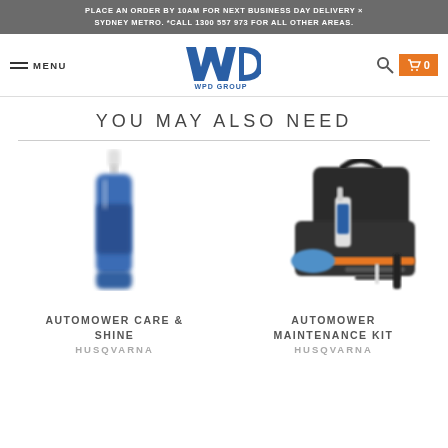PLACE AN ORDER BY 10AM FOR NEXT BUSINESS DAY DELIVERY × SYDNEY METRO. *CALL 1300 557 973 FOR ALL OTHER AREAS.
[Figure (logo): WPD Group logo with stylized W and D letters in blue and text 'WPD GROUP' below]
YOU MAY ALSO NEED
[Figure (photo): Husqvarna Automower Care & Shine product bottle, blue bottle with white pump top, slightly blurred]
[Figure (photo): Husqvarna Automower Maintenance Kit with black carrying case, cleaning spray bottle, blue cloth, brushes and tools]
AUTOMOWER CARE & SHINE
AUTOMOWER MAINTENANCE KIT
HUSQVARNA
HUSQVARNA